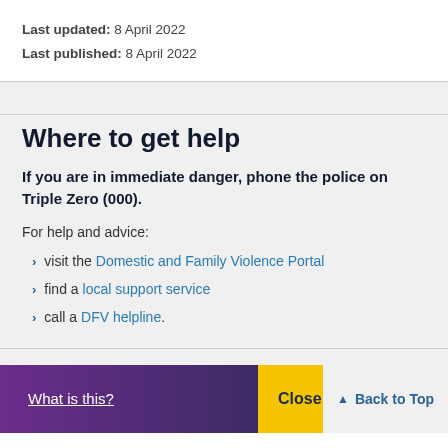Last updated: 8 April 2022
Last published: 8 April 2022
Where to get help
If you are in immediate danger, phone the police on Triple Zero (000).
For help and advice:
visit the Domestic and Family Violence Portal
find a local support service
call a DFV helpline.
What is this?   Close this   Back to Top